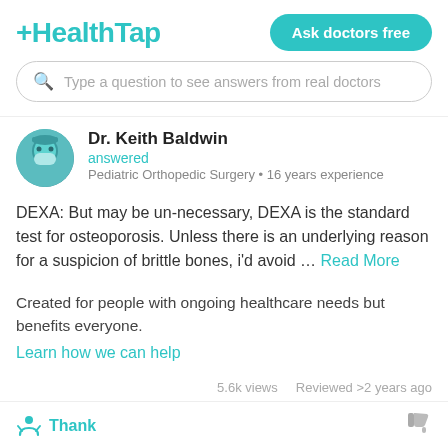HealthTap — Ask doctors free
Type a question to see answers from real doctors
Dr. Keith Baldwin
answered
Pediatric Orthopedic Surgery • 16 years experience
DEXA: But may be un-necessary, DEXA is the standard test for osteoporosis. Unless there is an underlying reason for a suspicion of brittle bones, i'd avoid … Read More
Created for people with ongoing healthcare needs but benefits everyone.
Learn how we can help
5.6k views   Reviewed >2 years ago
Thank